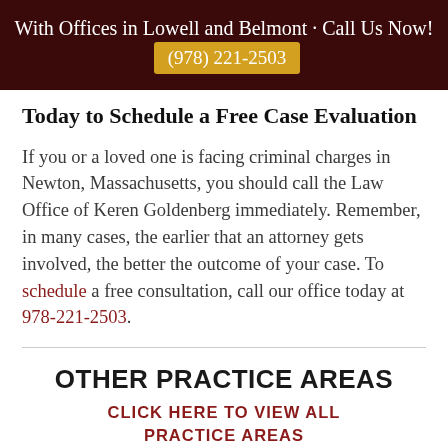With Offices in Lowell and Belmont · Call Us Now! (978) 221-2503
Today to Schedule a Free Case Evaluation
If you or a loved one is facing criminal charges in Newton, Massachusetts, you should call the Law Office of Keren Goldenberg immediately. Remember, in many cases, the earlier that an attorney gets involved, the better the outcome of your case. To schedule a free consultation, call our office today at 978-221-2503.
OTHER PRACTICE AREAS
CLICK HERE TO VIEW ALL PRACTICE AREAS